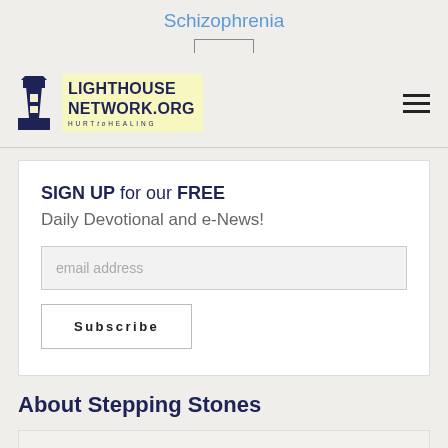Schizophrenia
[Figure (logo): Lighthouse Network.org logo with lighthouse icon and tagline HURT to HEALING, with hamburger menu icon on right]
SIGN UP for our FREE
Daily Devotional and e-News!
email address
Subscribe
About Stepping Stones